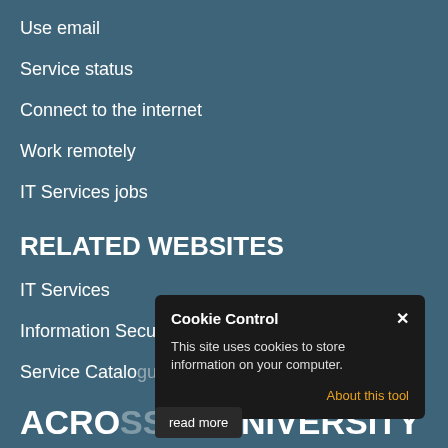Use email
Service status
Connect to the internet
Work remotely
IT Services jobs
RELATED WEBSITES
IT Services
Information Security
Service Catalogue
IT Services Programmes and Projects
IT Services
[Figure (screenshot): Cookie Control modal dialog with title 'Cookie Control', close button X, body text 'This site uses cookies to store information on your computer.', and an 'About this tool' link in orange. A 'read more' button appears at the bottom left of the modal.]
ACROSS UNIVERSITY